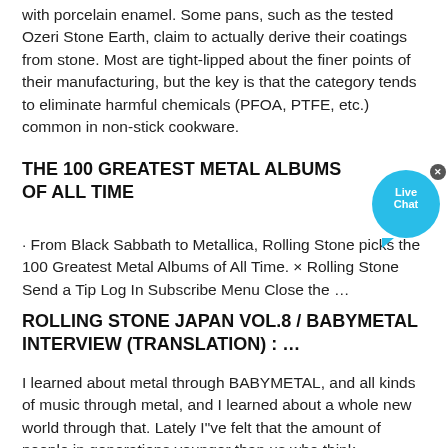with porcelain enamel. Some pans, such as the tested Ozeri Stone Earth, claim to actually derive their coatings from stone. Most are tight-lipped about the finer points of their manufacturing, but the key is that the category tends to eliminate harmful chemicals (PFOA, PTFE, etc.) common in non-stick cookware.
THE 100 GREATEST METAL ALBUMS OF ALL TIME
· From Black Sabbath to Metallica, Rolling Stone picks the 100 Greatest Metal Albums of All Time. × Rolling Stone Send a Tip Log In Subscribe Menu Close the …
ROLLING STONE JAPAN VOL.8 / BABYMETAL INTERVIEW (TRANSLATION) : …
I learned about metal through BABYMETAL, and all kinds of music through metal, and I learned about a whole new world through that. Lately I"ve felt that the amount of people in generations younger than us who think BABYMETAL are nice are slowly growing, and I